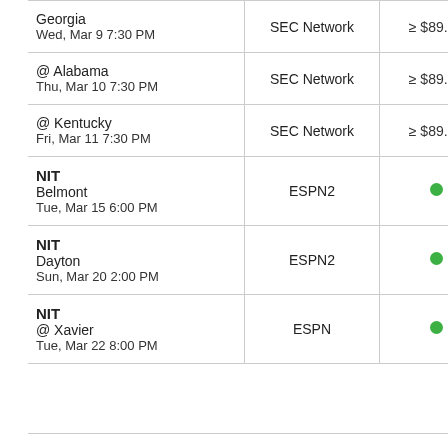| Game | Network | Price | Available |
| --- | --- | --- | --- |
| Georgia
Wed, Mar 9 7:30 PM | SEC Network | ≥ $89.99 | ● |
| @ Alabama
Thu, Mar 10 7:30 PM | SEC Network | ≥ $89.99 | ● |
| @ Kentucky
Fri, Mar 11 7:30 PM | SEC Network | ≥ $89.99 | ● |
| NIT
Belmont
Tue, Mar 15 6:00 PM | ESPN2 | ● | ● |
| NIT
Dayton
Sun, Mar 20 2:00 PM | ESPN2 | ● | ● |
| NIT
@ Xavier
Tue, Mar 22 8:00 PM | ESPN | ● | ● |